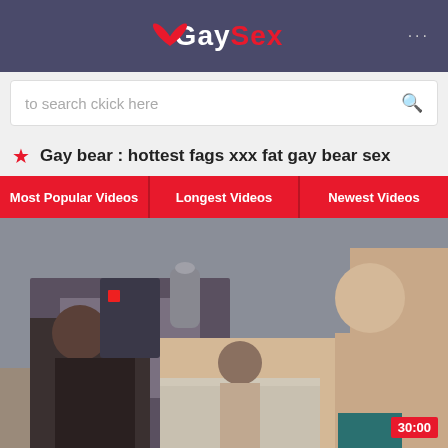GaySex
to search ckick here
Gay bear : hottest fags xxx fat gay bear sex
Most Popular Videos
Longest Videos
Newest Videos
[Figure (photo): Video thumbnail showing men in a room, timestamp 30:00]